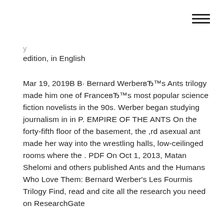≡
edition, in English
Mar 19, 2019В В· Bernard WerberвЂ™s Ants trilogy made him one of FranceвЂ™s most popular science fiction novelists in the 90s. Werber began studying journalism in in P. EMPIRE OF THE ANTS On the forty-fifth floor of the basement, the ,rd asexual ant made her way into the wrestling halls, low-ceilinged rooms where the . PDF On Oct 1, 2013, Matan Shelomi and others published Ants and the Humans Who Love Them: Bernard Werber's Les Fourmis Trilogy Find, read and cite all the research you need on ResearchGate